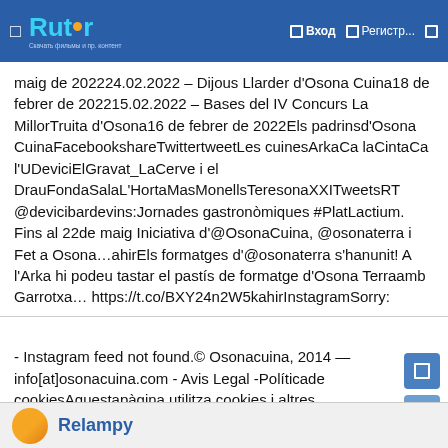Rutor — Вход — Регистр...
maig de 202224.02.2022 – Dijous Llarder d'Osona Cuina18 de febrer de 202215.02.2022 – Bases del IV Concurs La MillorTruita d'Osona16 de febrer de 2022Els padrinsd'Osona CuinaFacebookshareTwittertweetLes cuinesArkaCa laCintaCa l'UDeviciElGravat_LaCerve i el DrauFondaSalaL'HortaMasMonellsTeresonaXXITweetsRT @devicibardevins:Jornades gastronòmiques #PlatLactium. Fins al 22de maig Iniciativa d'@OsonaCuina, @osonaterra i Fet a Osona…ahirEls formatges d'@osonaterra s'hanunit! A l'Arka hi podeu tastar el pastís de formatge d'Osona Terraamb Garrotxa… https://t.co/BXY24n2W5kahirInstagramSorry:
- Instagram feed not found.© Osonacuina, 2014 — info[at]osonacuina.com - Avis Legal -Políticade cookiesAquestapàgina utilitza cookies i altres tecnologies per a poder millorarla vostre experiència al lloc web: Mésinformació.Acepto